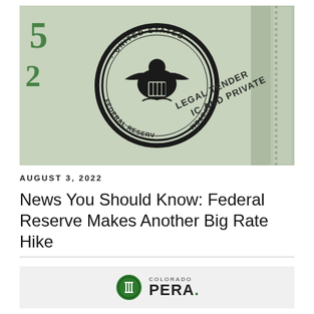[Figure (photo): Close-up photograph of a US Federal Reserve dollar bill showing the Federal Reserve System seal (eagle emblem with text 'UNITED STATES · FEDERAL RESERVE SYSTEM') and partial text 'LEGAL TENDER IC AND PRIVATE' with green printed numbers '5' and '2' visible on the left side.]
AUGUST 3, 2022
News You Should Know: Federal Reserve Makes Another Big Rate Hike
[Figure (logo): Colorado PERA logo — green circular coin/medal icon next to text 'COLORADO PERA.' in dark bold letters]